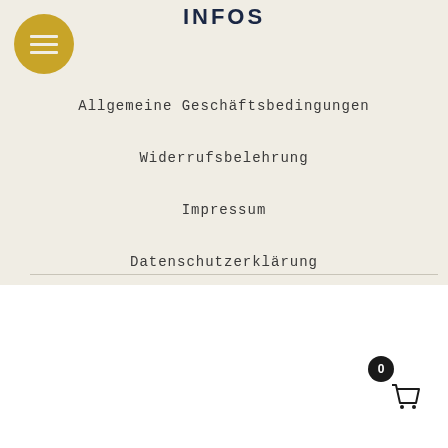INFOS
Allgemeine Geschäftsbedingungen
Widerrufsbelehrung
Impressum
Datenschutzerklärung
BOCK AUF COOKIES?
Wir verwenden Cookies. Du kannst jedoch die "Cookie-Einstellungen" besuchen, um eine kontrollierte Zustimmung zu erteilen
Einstellungen   Alle akzeptieren